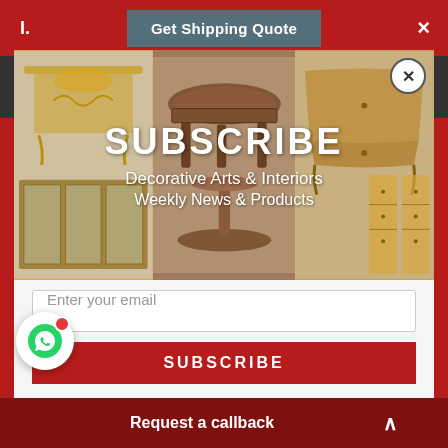I. Get Shipping Quote ×
Video unavailable
SUBSCRIBE
Decorative Arts & Interiors
Weekly News & Products
Enter your email
SUBSCRIBE
Request a callback